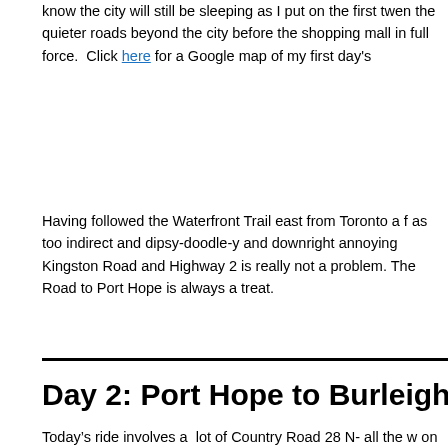know the city will still be sleeping as I put on the first twen the quieter roads beyond the city before the shopping mall in full force.  Click here for a Google map of my first day's
Having followed the Waterfront Trail east from Toronto a f as too indirect and dipsy-doodle-y and downright annoying Kingston Road and Highway 2 is really not a problem. The Road to Port Hope is always a treat.
Day 2: Port Hope to Burleigh
Today's ride involves a  lot of Country Road 28 N- all the w on through Lakefield to the night's cottage accommodatio distance off of 28. Lunch in downtown Peterborough,  a fe out the Trent-Severn locks that happen to be nearby, a ram